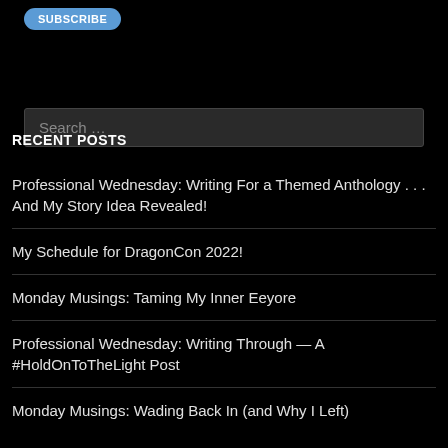[Figure (other): Blue subscribe button at top left]
[Figure (other): Dark search input field with placeholder text 'Search ...']
RECENT POSTS
Professional Wednesday: Writing For a Themed Anthology . . . And My Story Idea Revealed!
My Schedule for DragonCon 2022!
Monday Musings: Taming My Inner Eeyore
Professional Wednesday: Writing Through — A #HoldOnToTheLight Post
Monday Musings: Wading Back In (and Why I Left)